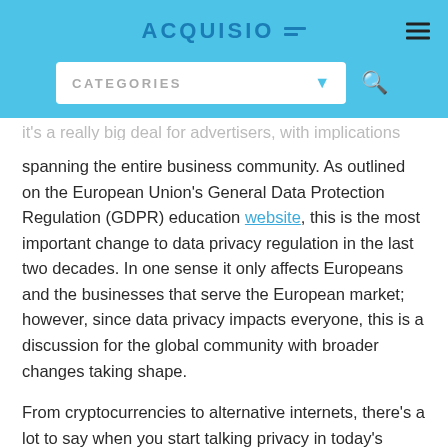ACQUISIO
it's a really big deal for advertisers, with implications spanning the entire business community. As outlined on the European Union's General Data Protection Regulation (GDPR) education website, this is the most important change to data privacy regulation in the last two decades. In one sense it only affects Europeans and the businesses that serve the European market; however, since data privacy impacts everyone, this is a discussion for the global community with broader changes taking shape.
From cryptocurrencies to alternative internets, there's a lot to say when you start talking privacy in today's terms. But global revolutions aside, as marketers and advertisers we need to know what all this means for us. Let's start with understanding the